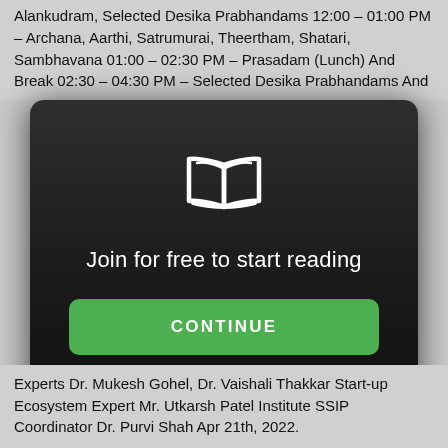Alankudram, Selected Desika Prabhandams 12:00 – 01:00 PM – Archana, Aarthi, Satrumurai, Theertham, Shatari, Sambhavana 01:00 – 02:30 PM – Prasadam (Lunch) And Break 02:30 – 04:30 PM – Selected Desika Prabhandams And
[Figure (screenshot): A modal overlay on a dark rounded rectangle background with a white open book icon at top, text 'Join for free to start reading', and a green CONTINUE button.]
Experts Dr. Mukesh Gohel, Dr. Vaishali Thakkar Start-up Ecosystem Expert Mr. Utkarsh Patel Institute SSIP Coordinator Dr. Purvi Shah Apr 21th, 2022.